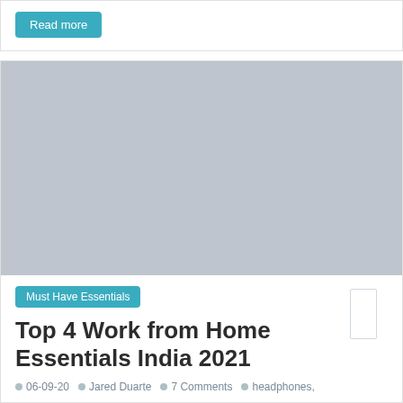Read more
[Figure (photo): Placeholder image with light blue-grey background for blog post about Top 4 Work from Home Essentials India 2021]
Must Have Essentials
Top 4 Work from Home Essentials India 2021
06-09-20  Jared Duarte  7 Comments  headphones,